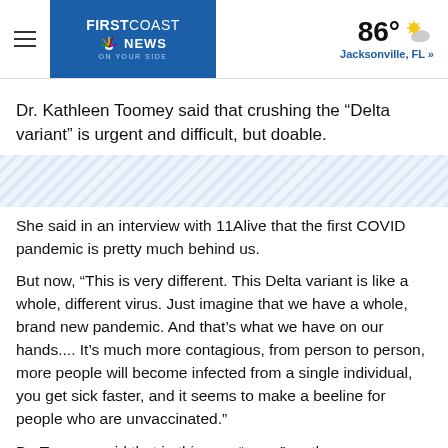First Coast News | 86° Jacksonville, FL »
Dr. Kathleen Toomey said that crushing the “Delta variant” is urgent and difficult, but doable.
[Figure (other): Diagonal stripe decorative banner graphic]
She said in an interview with 11Alive that the first COVID pandemic is pretty much behind us.
But now, “This is very different. This Delta variant is like a whole, different virus. Just imagine that we have a whole, brand new pandemic. And that’s what we have on our hands.... It’s much more contagious, from person to person, more people will become infected from a single individual, you get sick faster, and it seems to make a beeline for people who are unvaccinated.”
Dr. Toomey said that in this new “wave” on the unvaccinated...